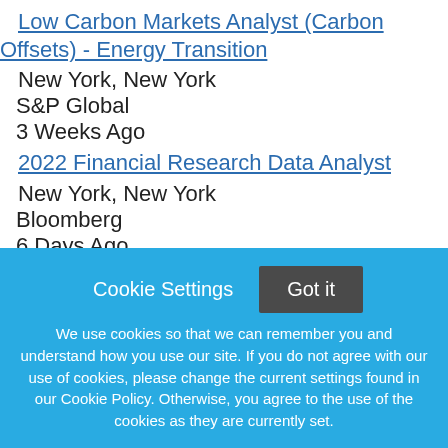Low Carbon Markets Analyst (Carbon Offsets) - Energy Transition
New York, New York
S&P Global
3 Weeks Ago
2022 Financial Research Data Analyst
New York, New York
Bloomberg
6 Days Ago
2023 Investment Banking (Latin America) Summer Analyst
Cookie Settings  Got it
We use cookies so that we can remember you and understand how you use our site. If you do not agree with our use of cookies, please change the current settings found in our Cookie Policy. Otherwise, you agree to the use of the cookies as they are currently set.